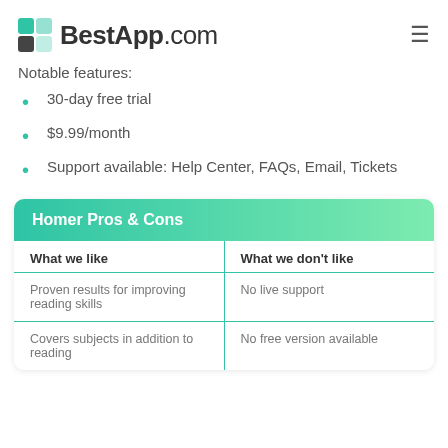BestApp.com
Notable features:
30-day free trial
$9.99/month
Support available: Help Center, FAQs, Email, Tickets
| What we like | What we don't like |
| --- | --- |
| Proven results for improving reading skills | No live support |
| Covers subjects in addition to reading | No free version available |